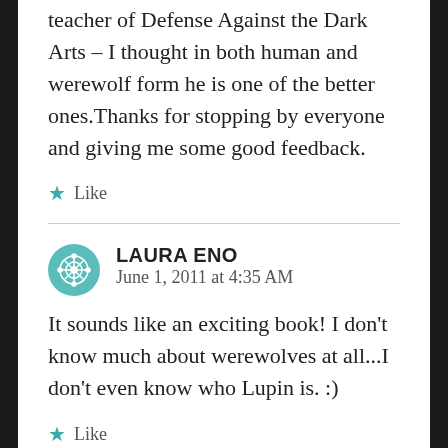teacher of Defense Against the Dark Arts – I thought in both human and werewolf form he is one of the better ones.Thanks for stopping by everyone and giving me some good feedback.
Like
LAURA ENO
June 1, 2011 at 4:35 AM
It sounds like an exciting book! I don't know much about werewolves at all...I don't even know who Lupin is. :)
Like